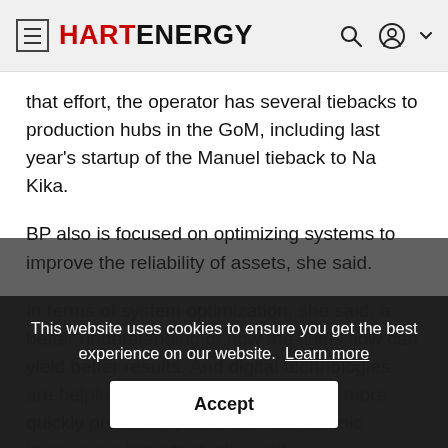HART ENERGY
that effort, the operator has several tiebacks to production hubs in the GoM, including last year’s startup of the Manuel tieback to Na Kika.
BP also is focused on optimizing systems to improve the reliability of assets, she said.
In terms of system optimization, she said, a better understanding of how the fluids flow can yield better results. And digital technologies are helping with that. Automation and more quickly processing data such as seismic images are important, she said.
Digital technologies help make better and faster
This website uses cookies to ensure you get the best experience on our website. Learn more
Accept